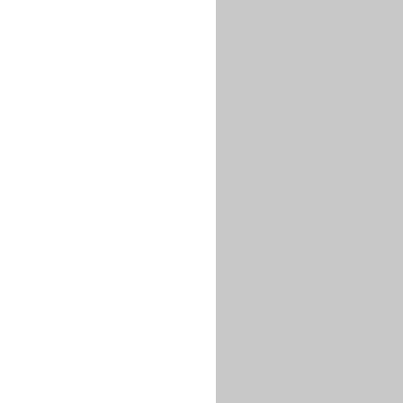[Figure (photo): Partial white card at top right, content not visible]
[Figure (photo): Vinyl record with El Zarape label showing colorful stripes and text 'VEHICLE / AUGUSTINE RAMIREZ' on a 45 rpm record]
Augustine Ramirez -
Cumbia
[Figure (photo): Partial cassette tape cover showing Laura Flores with barcode on left side and woman's face on right side]